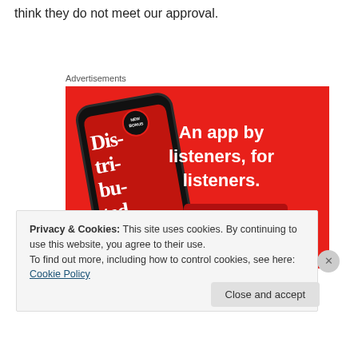think they do not meet our approval.
Advertisements
[Figure (screenshot): Advertisement for a podcast app on red background showing a phone with 'Dis-tri-buted' podcast playing and text 'An app by listeners, for listeners.' with a 'Download now' button]
Privacy & Cookies: This site uses cookies. By continuing to use this website, you agree to their use.
To find out more, including how to control cookies, see here: Cookie Policy
Close and accept